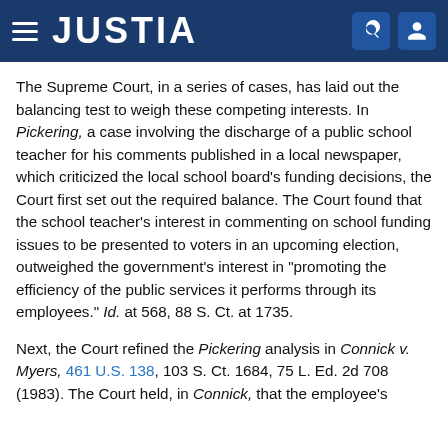JUSTIA
The Supreme Court, in a series of cases, has laid out the balancing test to weigh these competing interests. In Pickering, a case involving the discharge of a public school teacher for his comments published in a local newspaper, which criticized the local school board's funding decisions, the Court first set out the required balance. The Court found that the school teacher's interest in commenting on school funding issues to be presented to voters in an upcoming election, outweighed the government's interest in "promoting the efficiency of the public services it performs through its employees." Id. at 568, 88 S. Ct. at 1735.
Next, the Court refined the Pickering analysis in Connick v. Myers, 461 U.S. 138, 103 S. Ct. 1684, 75 L. Ed. 2d 708 (1983). The Court held, in Connick, that the employee's